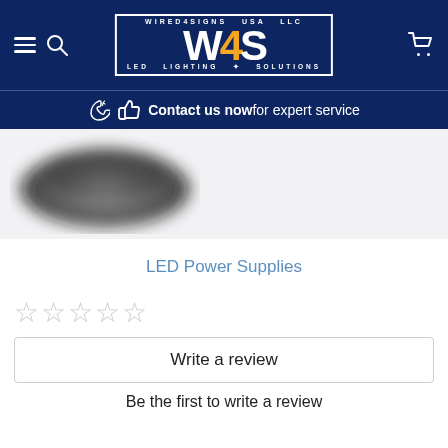WIRED4SIGNS USA LLC - W4S LED LIGHTING SOLUTIONS
Contact us now for expert service
[Figure (photo): Blurred product image of LED power supplies on a light gray background]
LED Power Supplies
☆☆☆☆☆ (5 empty stars rating)
Write a review
Be the first to write a review